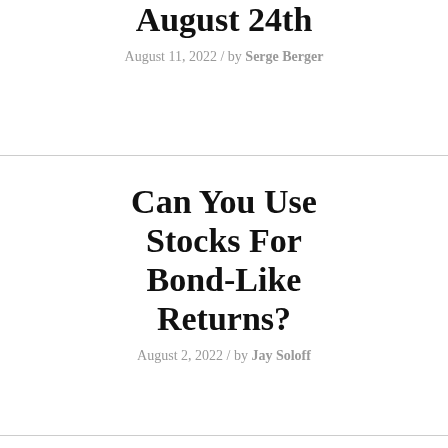August 24th
August 11, 2022 / by Serge Berger
Can You Use Stocks For Bond-Like Returns?
August 2, 2022 / by Jay Soloff